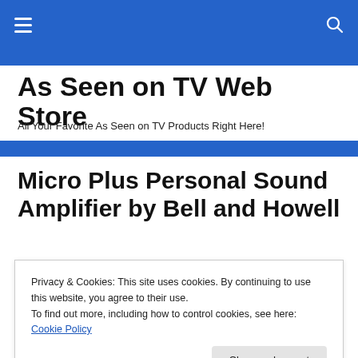As Seen on TV Web Store – navigation bar
As Seen on TV Web Store
All Your Favorite As Seen on TV Products Right Here!
Micro Plus Personal Sound Amplifier by Bell and Howell
[Figure (photo): Product image showing a blue banner with 'AS SEEN' badge and a person's ear with a hearing amplifier device]
Privacy & Cookies: This site uses cookies. By continuing to use this website, you agree to their use.
To find out more, including how to control cookies, see here: Cookie Policy
Close and accept